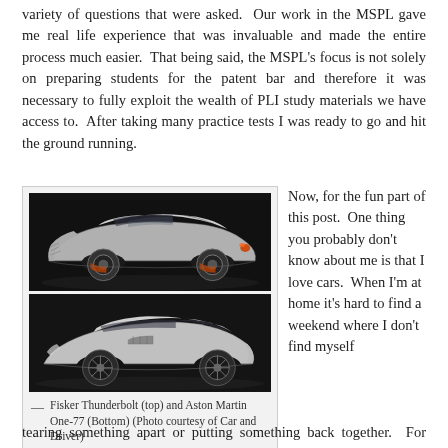variety of questions that were asked.  Our work in the MSPL gave me real life experience that was invaluable and made the entire process much easier.  That being said, the MSPL's focus is not solely on preparing students for the patent bar and therefore it was necessary to fully exploit the wealth of PLI study materials we have access to.  After taking many practice tests I was ready to go and hit the ground running.
[Figure (photo): Two luxury sports cars stacked vertically: top image shows the Fisker Thunderbolt (silver/grey sports car from rear-side angle on dark background), bottom image shows the Aston Martin One-77 (silver sports car from side angle on dark background).]
— Fisker Thunderbolt (top) and Aston Martin One-77 (Bottom) (Photo courtesy of Car and Driver)
Now, for the fun part of this post.  One thing you probably don't know about me is that I love cars.  When I'm at home it's hard to find a weekend where I don't find myself
tearing something apart or putting something back together.  For example,